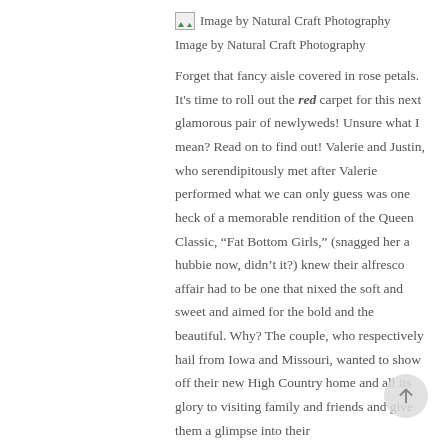[Figure (illustration): Broken image icon placeholder with text 'Image by Natural Craft Photography']
Image by Natural Craft Photography
Forget that fancy aisle covered in rose petals. It's time to roll out the red carpet for this next glamorous pair of newlyweds! Unsure what I mean? Read on to find out! Valerie and Justin, who serendipitously met after Valerie performed what we can only guess was one heck of a memorable rendition of the Queen Classic, “Fat Bottom Girls,” (snagged her a hubbie now, didn’t it?) knew their alfresco affair had to be one that nixed the soft and sweet and aimed for the bold and the beautiful. Why? The couple, who respectively hail from Iowa and Missouri, wanted to show off their new High Country home and all its glory to visiting family and friends and give them a glimpse into their